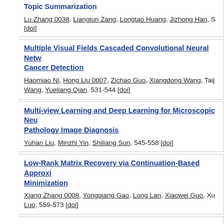Topic Summarization
Lu Zhang 0038, Liangjun Zang, Longtao Huang, Jizhong Han, S… [doi]
Multiple Visual Fields Cascaded Convolutional Neural Netw… Cancer Detection
Haomiao Ni, Hong Liu 0007, Zichao Guo, Xiangdong Wang, Taij… Wang, Yueliang Qian. 531-544 [doi]
Multi-view Learning and Deep Learning for Microscopic Neu… Pathology Image Diagnosis
Yuhan Liu, Minzhi Yin, Shiliang Sun. 545-558 [doi]
Low-Rank Matrix Recovery via Continuation-Based Approxi… Minimization
Xiang Zhang 0008, Yongqiang Gao, Long Lan, Xiaowei Guo, Xu… Luo. 559-573 [doi]